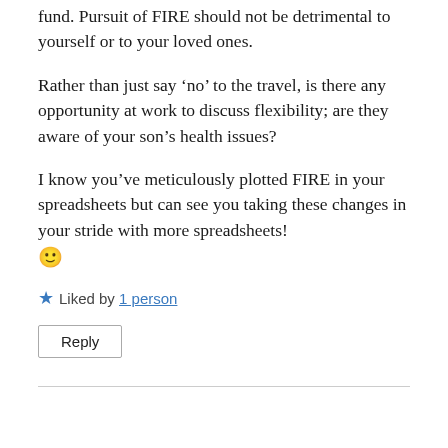fund. Pursuit of FIRE should not be detrimental to yourself or to your loved ones.
Rather than just say ‘no’ to the travel, is there any opportunity at work to discuss flexibility; are they aware of your son’s health issues?
I know you’ve meticulously plotted FIRE in your spreadsheets but can see you taking these changes in your stride with more spreadsheets! 🙂
★ Liked by 1 person
Reply